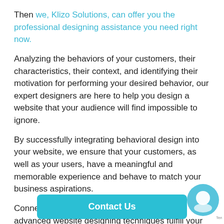Then we, Klizo Solutions, can offer you the professional designing assistance you need right now.
Analyzing the behaviors of your customers, their characteristics, their context, and identifying their motivation for performing your desired behavior, our expert designers are here to help you design a website that your audience will find impossible to ignore.
By successfully integrating behavioral design into your website, we ensure that your customers, as well as your users, have a meaningful and memorable experience and behave to match your business aspirations.
Connect us today by clicking here and let our advanced website designing techniques fulfill your business g…